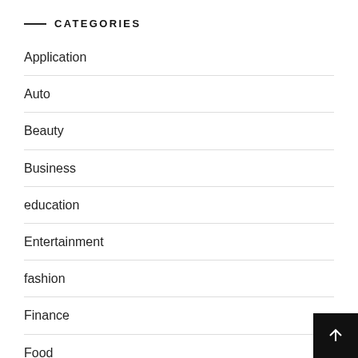CATEGORIES
Application
Auto
Beauty
Business
education
Entertainment
fashion
Finance
Food